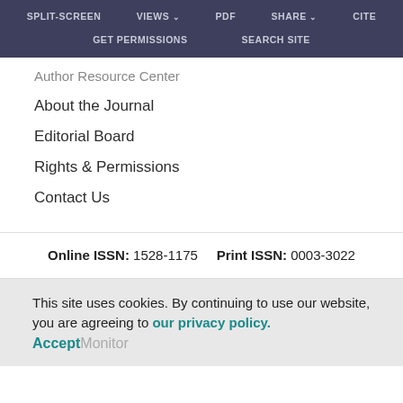SPLIT-SCREEN  VIEWS  PDF  SHARE  CITE  GET PERMISSIONS  SEARCH SITE
Author Resource Center
About the Journal
Editorial Board
Rights & Permissions
Contact Us
Online ISSN: 1528-1175    Print ISSN: 0003-3022
This site uses cookies. By continuing to use our website, you are agreeing to our privacy policy. Accept Monitor